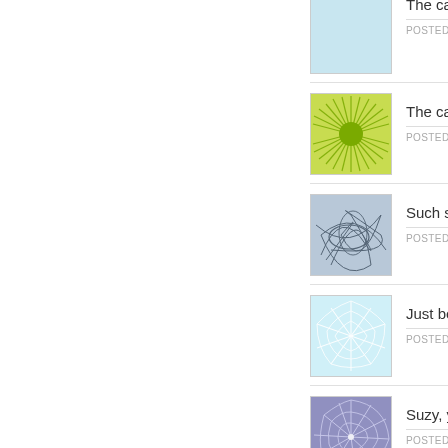[Figure (illustration): Green sunburst/radial lines design thumbnail]
The cards lo
POSTED BY: S
[Figure (illustration): Blue-grey tangled lines design thumbnail]
Such sweet
POSTED BY: D
[Figure (illustration): Light blue web/starburst design thumbnail]
Just beautif
POSTED BY: J
[Figure (illustration): Purple/lavender starburst web design thumbnail]
Suzy, your w
POSTED BY: D
[Figure (illustration): Blue-grey tangled loops design thumbnail]
The waterco
POSTED BY: D